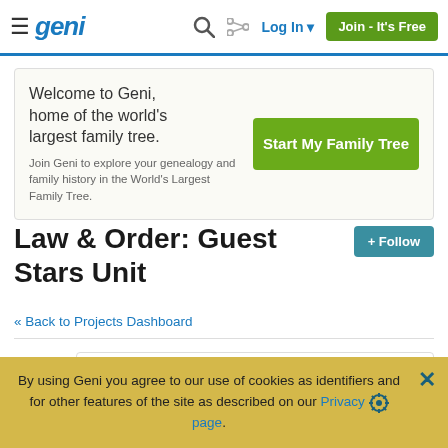Geni - Log In - Join - It's Free
Welcome to Geni, home of the world's largest family tree. Join Geni to explore your genealogy and family history in the World's Largest Family Tree.
Start My Family Tree
Law & Order: Guest Stars Unit
+ Follow
« Back to Projects Dashboard
By using Geni you agree to our use of cookies as identifiers and for other features of the site as described on our Privacy page.